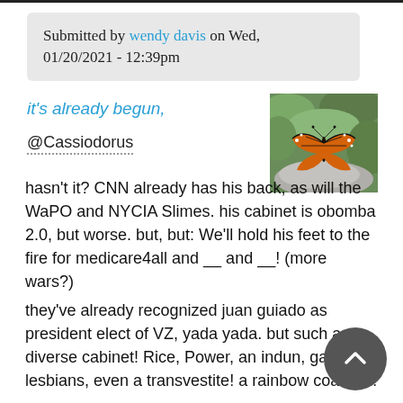Submitted by wendy davis on Wed, 01/20/2021 - 12:39pm
it's already begun,
@Cassiodorus
[Figure (photo): Monarch butterfly resting on a white flower with green foliage in background]
hasn't it? CNN already has his back, as will the WaPO and NYCIA Slimes. his cabinet is obomba 2.0, but worse. but, but: We'll hold his feet to the fire for medicare4all and __ and __! (more wars?)
they've already recognized juan guiado as president elect of VZ, yada yada. but such a diverse cabinet! Rice, Power, an indun, gays, lesbians, even a transvestite! a rainbow coalition!